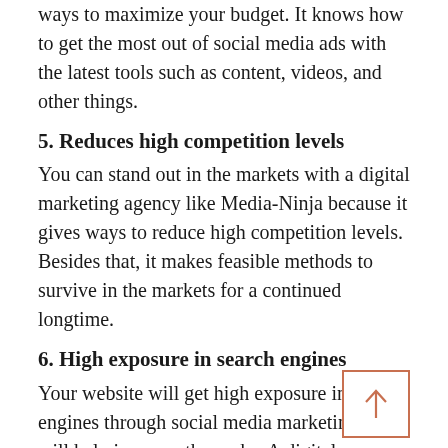ways to maximize your budget. It knows how to get the most out of social media ads with the latest tools such as content, videos, and other things.
5. Reduces high competition levels
You can stand out in the markets with a digital marketing agency like Media-Ninja because it gives ways to reduce high competition levels. Besides that, it makes feasible methods to survive in the markets for a continued longtime.
6. High exposure in search engines
Your website will get high exposure in search engines through social media marketing that will help improve the ranks. A digital marketing agency offers solutions for...